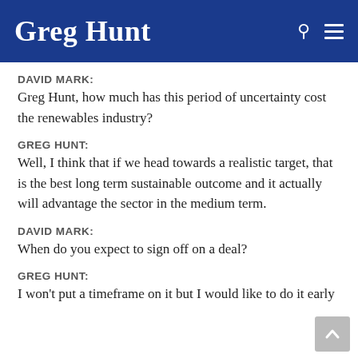Greg Hunt
DAVID MARK:
Greg Hunt, how much has this period of uncertainty cost the renewables industry?
GREG HUNT:
Well, I think that if we head towards a realistic target, that is the best long term sustainable outcome and it actually will advantage the sector in the medium term.
DAVID MARK:
When do you expect to sign off on a deal?
GREG HUNT:
I won’t put a timeframe on it but I would like to do it early